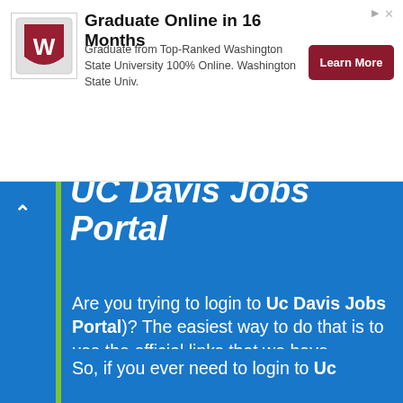[Figure (screenshot): Advertisement banner: Washington State University logo on left, heading 'Graduate Online in 16 Months', body text 'Graduate from Top-Ranked Washington State University 100% Online. Washington State Univ.', and a dark red 'Learn More' button on the right.]
UC Davis Jobs Portal
Are you trying to login to Uc Davis Jobs Portal)? The easiest way to do that is to use the official links that we have provided below. We keep all of our links up to date at all times.
So, if you ever need to login to Uc